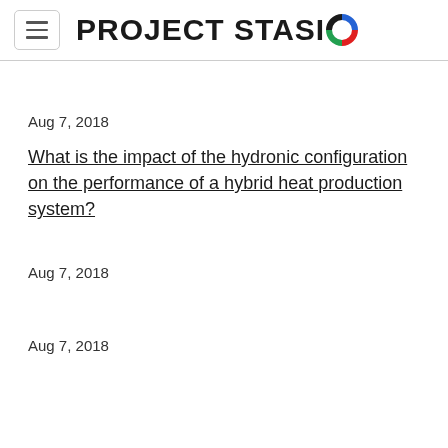PROJECT STASIO
Aug 7, 2018
What is the impact of the hydronic configuration on the performance of a hybrid heat production system?
Aug 7, 2018
Aug 7, 2018